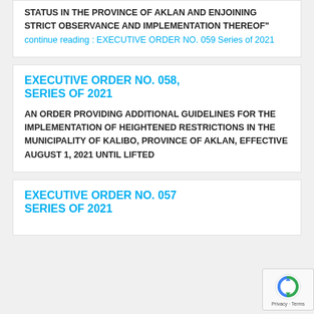STATUS IN THE PROVINCE OF AKLAN AND ENJOINING STRICT OBSERVANCE AND IMPLEMENTATION THEREOF" continue reading : EXECUTIVE ORDER NO. 059 Series of 2021
EXECUTIVE ORDER NO. 058, SERIES OF 2021
AN ORDER PROVIDING ADDITIONAL GUIDELINES FOR THE IMPLEMENTATION OF HEIGHTENED RESTRICTIONS IN THE MUNICIPALITY OF KALIBO, PROVINCE OF AKLAN, EFFECTIVE AUGUST 1, 2021 UNTIL LIFTED
EXECUTIVE ORDER NO. 057 SERIES OF 2021